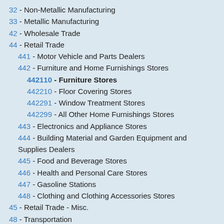32 - Non-Metallic Manufacturing
33 - Metallic Manufacturing
42 - Wholesale Trade
44 - Retail Trade
441 - Motor Vehicle and Parts Dealers
442 - Furniture and Home Furnishings Stores
442110 - Furniture Stores
442210 - Floor Covering Stores
442291 - Window Treatment Stores
442299 - All Other Home Furnishings Stores
443 - Electronics and Appliance Stores
444 - Building Material and Garden Equipment and Supplies Dealers
445 - Food and Beverage Stores
446 - Health and Personal Care Stores
447 - Gasoline Stations
448 - Clothing and Clothing Accessories Stores
45 - Retail Trade - Misc.
48 - Transportation
49 - Postal & Warehousing